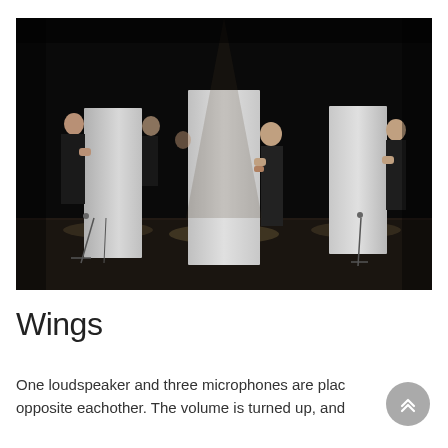[Figure (photo): A dark stage performance photo showing three people in black clothing, each holding large white rectangular panels vertically. The figures are partially obscured behind the panels. Stage lighting illuminates the panels against a black background. Microphone stands are visible on the floor.]
Wings
One loudspeaker and three microphones are placed opposite eachother. The volume is turned up, and